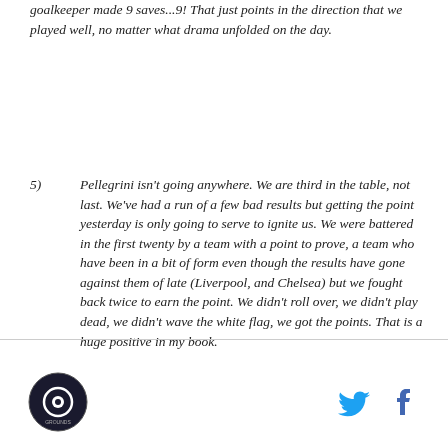goalkeeper made 9 saves...9! That just points in the direction that we played well, no matter what drama unfolded on the day.
5) Pellegrini isn't going anywhere. We are third in the table, not last. We've had a run of a few bad results but getting the point yesterday is only going to serve to ignite us. We were battered in the first twenty by a team with a point to prove, a team who have been in a bit of form even though the results have gone against them of late (Liverpool, and Chelsea) but we fought back twice to earn the point. We didn't roll over, we didn't play dead, we didn't wave the white flag, we got the points. That is a huge positive in my book.
[Figure (logo): Circular logo with eye design, dark background]
[Figure (logo): Twitter bird icon in blue]
[Figure (logo): Facebook f icon in dark blue/grey]